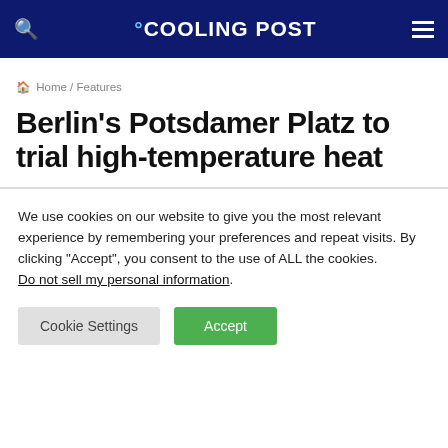COOLING POST
Home / Features
Berlin's Potsdamer Platz to trial high-temperature heat
We use cookies on our website to give you the most relevant experience by remembering your preferences and repeat visits. By clicking “Accept”, you consent to the use of ALL the cookies.
Do not sell my personal information.
Cookie Settings | Accept